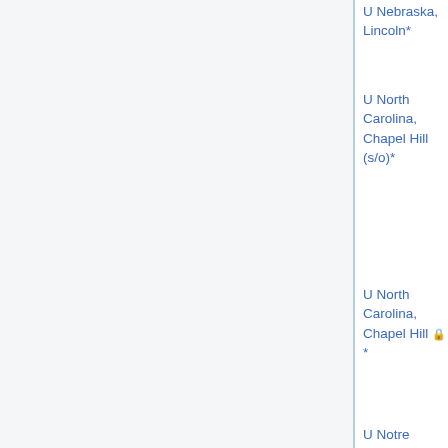U Nebraska, Lincoln*
U North Carolina, Chapel Hill (s/o)*
U North Carolina, Chapel Hill 🔒*
Yuehaw Khoo, Graham Cox, Pedro Saenz, Leonardo Zapeda-Nunez, Alexandria Volkening, Sergey Dyachenko, Jacob Shapiro, Mohammad Farazmand
U Notre